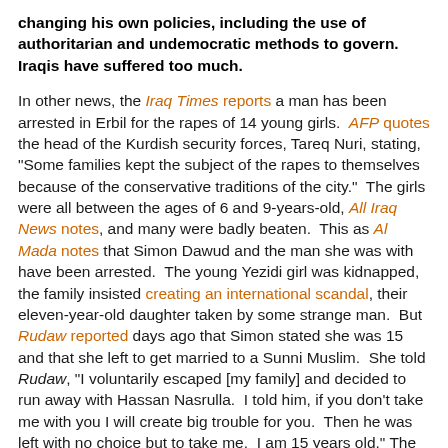changing his own policies, including the use of authoritarian and undemocratic methods to govern. Iraqis have suffered too much.
In other news, the Iraq Times reports a man has been arrested in Erbil for the rapes of 14 young girls. AFP quotes the head of the Kurdish security forces, Tareq Nuri, stating, "Some families kept the subject of the rapes to themselves because of the conservative traditions of the city." The girls were all between the ages of 6 and 9-years-old, All Iraq News notes, and many were badly beaten. This as Al Mada notes that Simon Dawud and the man she was with have been arrested. The young Yezidi girl was kidnapped, the family insisted creating an international scandal, their eleven-year-old daughter taken by some strange man. But Rudaw reported days ago that Simon stated she was 15 and that she left to get married to a Sunni Muslim. She told Rudaw, "I voluntarily escaped [my family] and decided to run away with Hassan Nasrulla. I told him, if you don't take me with you I will create big trouble for you. Then he was left with no choice but to take me. I am 15 years old." The law requires her to be 16 to marry so her elopement with Nasrulla may be